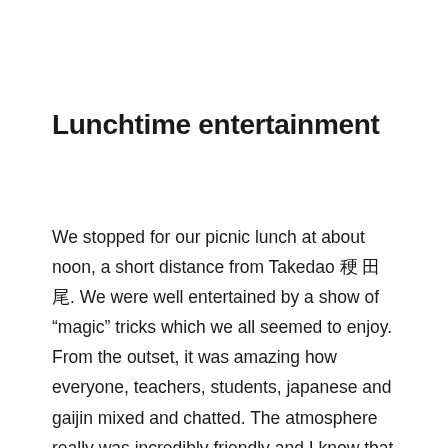Lunchtime entertainment
We stopped for our picnic lunch at about noon, a short distance from Takedao 竹 田 尾. We were well entertained by a show of “magic” tricks which we all seemed to enjoy. From the outset, it was amazing how everyone, teachers, students, japanese and gaijin mixed and chatted. The atmosphere really was incredibly friendly and I know that I had such a good time mixing with teachers and students alike. The English conversation class really...